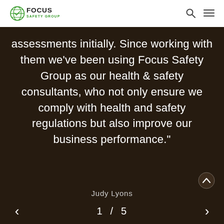[Figure (logo): Focus Safety Group logo — green globe with 'FOCUS' in bold and 'SAFETY GROUP' below in green]
assessments initially. Since working with them we've been using Focus Safety Group as our health & safety consultants, who not only ensure we comply with health and safety regulations but also improve our business performance."
Judy Lyons
1 / 5